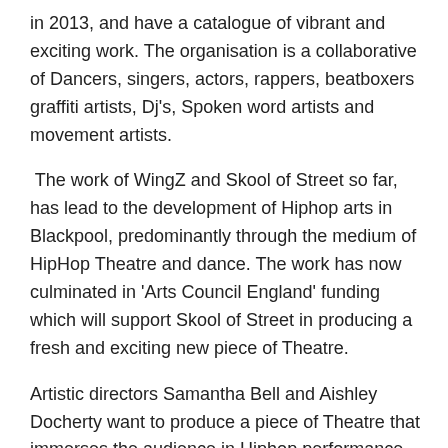in 2013, and have a catalogue of vibrant and exciting work. The organisation is a collaborative of Dancers, singers, actors, rappers, beatboxers graffiti artists, Dj's, Spoken word artists and movement artists.
The work of WingZ and Skool of Street so far, has lead to the development of Hiphop arts in Blackpool, predominantly through the medium of HipHop Theatre and dance. The work has now culminated in 'Arts Council England' funding which will support Skool of Street in producing a fresh and exciting new piece of Theatre.
Artistic directors Samantha Bell and Aishley Docherty want to produce a piece of Theatre that immerses the audience in Hiphop performance, and leaves them with a thirst for more, Here is what they have to say about the production-